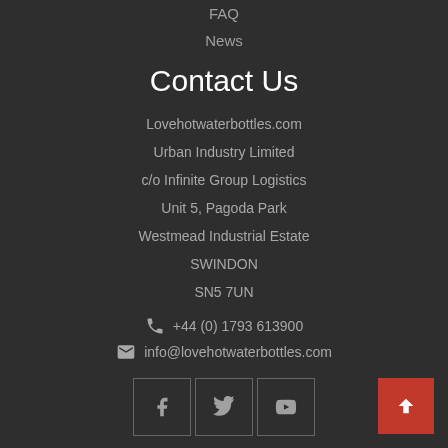FAQ
News
Contact Us
Lovehotwaterbottles.com
Urban Industry Limited
c/o Infinite Group Logistics
Unit 5, Pagoda Park
Westmead Industrial Estate
SWINDON
SN5 7UN
+44 (0) 1793 613900
info@lovehotwaterbottles.com
[Figure (other): Social media icons: Facebook, Twitter, YouTube in square bordered boxes, and a red back-to-top arrow button]